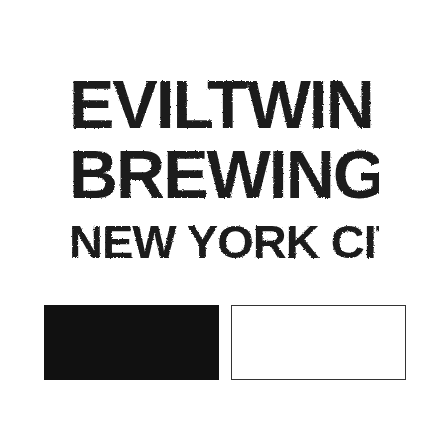[Figure (logo): Evil Twin Brewing New York City logo — distressed bold black uppercase text on white background, three lines: EVILTWIN / BREWING / NEW YORK CITY]
[Figure (other): Two color swatches side by side: left is solid black rectangle, right is white rectangle with black border — showing brand color palette]